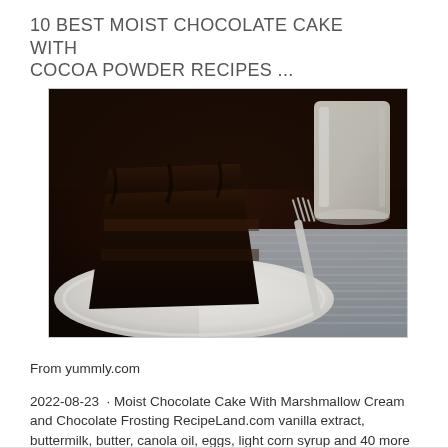10 BEST MOIST CHOCOLATE CAKE WITH COCOA POWDER RECIPES ...
[Figure (photo): A slice of dark chocolate layer cake on a white decorative plate, with a glass of milk and a fork on a striped cloth napkin in the background.]
From yummly.com
2022-08-23  · Moist Chocolate Cake With Marshmallow Cream and Chocolate Frosting RecipeLand.com vanilla extract, buttermilk, butter, canola oil, eggs, light corn syrup and 40 more Moist Chocolate Cake (Bread Machine) Thailand 1 ...
See details ↗